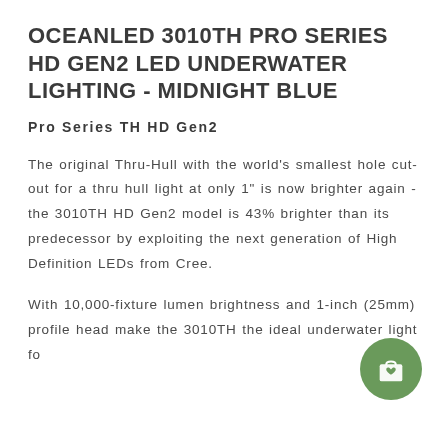OCEANLED 3010TH PRO SERIES HD GEN2 LED UNDERWATER LIGHTING - MIDNIGHT BLUE
Pro Series TH HD Gen2
The original Thru-Hull with the world's smallest hole cut-out for a thru hull light at only 1" is now brighter again - the 3010TH HD Gen2 model is 43% brighter than its predecessor by exploiting the next generation of High Definition LEDs from Cree.
With 10,000-fixture lumen brightness and 1-inch (25mm) profile head make the 3010TH the ideal underwater light for...